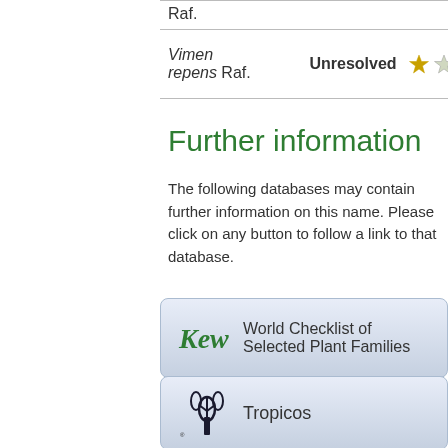| Name | Status | Rating |
| --- | --- | --- |
| Raf. |  |  |
| Vimen repens Raf. | Unresolved | ★☆☆ |
Further information
The following databases may contain further information on this name. Please click on any button to follow a link to that database.
[Figure (logo): Kew logo with text 'World Checklist of Selected Plant Families']
[Figure (logo): Tropicos logo with text 'Tropicos']
[Figure (logo): Species 2000 ITIS logo with text 'Catalogue of Life']
[Figure (logo): African Plant Database logo (Apd) with text 'African Plant Database']